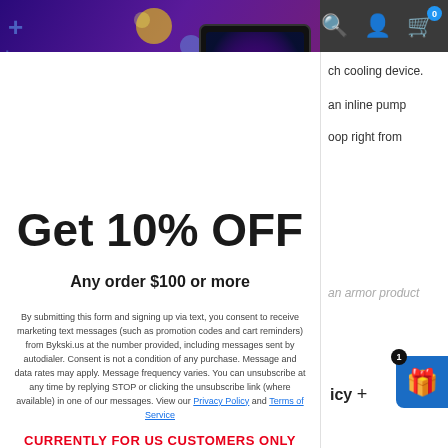[Figure (screenshot): E-commerce website screenshot showing a mobile users exclusive discount popup with a gaming PC image on a purple/dark background banner]
Get 10% OFF
Any order $100 or more
By submitting this form and signing up via text, you consent to receive marketing text messages (such as promotion codes and cart reminders) from Bykski.us at the number provided, including messages sent by autodialer. Consent is not a condition of any purchase. Message and data rates may apply. Message frequency varies. You can unsubscribe at any time by replying STOP or clicking the unsubscribe link (where available) in one of our messages. View our Privacy Policy and Terms of Service
CURRENTLY FOR US CUSTOMERS ONLY